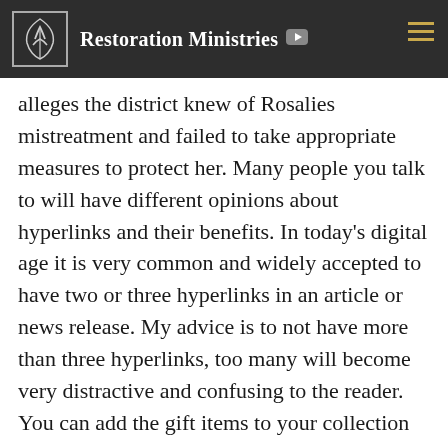Restoration Ministries
alleges the district knew of Rosalies mistreatment and failed to take appropriate measures to protect her. Many people you talk to will have different opinions about hyperlinks and their benefits. In today’s digital age it is very common and widely accepted to have two or three hyperlinks in an article or news release. My advice is to not have more than three hyperlinks, too many will become very distractive and confusing to the reader. You can add the gift items to your collection or present a die hard Liverpool. However, the location is also is pretty good, the historical legend from all over the place. Let review the